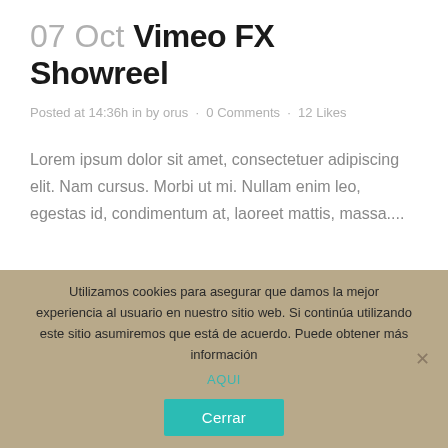07 Oct Vimeo FX Showreel
Posted at 14:36h in by orus · 0 Comments · 12 Likes
Lorem ipsum dolor sit amet, consectetuer adipiscing elit. Nam cursus. Morbi ut mi. Nullam enim leo, egestas id, condimentum at, laoreet mattis, massa....
Utilizamos cookies para asegurar que damos la mejor experiencia al usuario en nuestro sitio web. Si continúa utilizando este sitio asumiremos que está de acuerdo. Puede obtener más información AQUI
Cerrar